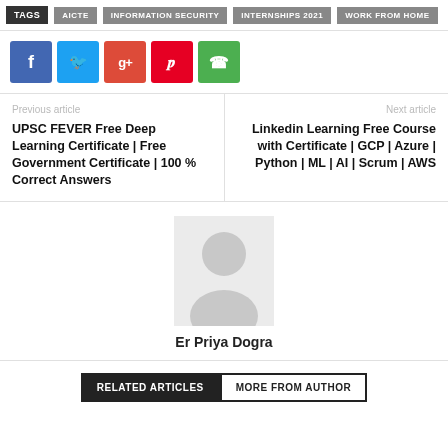TAGS | AICTE | INFORMATION SECURITY | INTERNSHIPS 2021 | WORK FROM HOME
[Figure (infographic): Social share buttons: Facebook (blue), Twitter (light blue), Google+ (red), Pinterest (red), WhatsApp (green)]
Previous article
UPSC FEVER Free Deep Learning Certificate | Free Government Certificate | 100 % Correct Answers
Next article
Linkedin Learning Free Course with Certificate | GCP | Azure | Python | ML | AI | Scrum | AWS
[Figure (photo): Avatar placeholder image for author Er Priya Dogra]
Er Priya Dogra
RELATED ARTICLES   MORE FROM AUTHOR